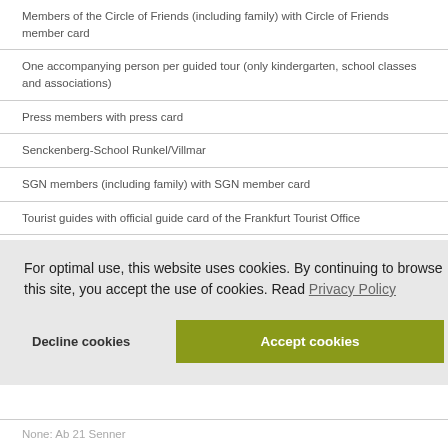| Members of the Circle of Friends (including family) with Circle of Friends member card |
| One accompanying person per guided tour (only kindergarten, school classes and associations) |
| Press members with press card |
| Senckenberg-School Runkel/Villmar |
| SGN members (including family) with SGN member card |
| Tourist guides with official guide card of the Frankfurt Tourist Office |
| Trainees of Frankfurt City Council with confirmation |
For optimal use, this website uses cookies. By continuing to browse this site, you accept the use of cookies. Read Privacy Policy
Decline cookies | Accept cookies
None: Ab 21 Senner